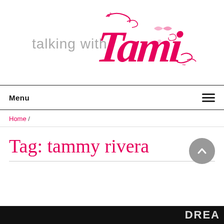[Figure (logo): Talking with Tami blog logo — grey 'talking with' text and large pink cursive 'Tami' with decorative flourishes]
Menu
Home /
Tag: tammy rivera
[Figure (photo): Dark/black banner image with partial white text reading 'DREA' visible at the right edge]